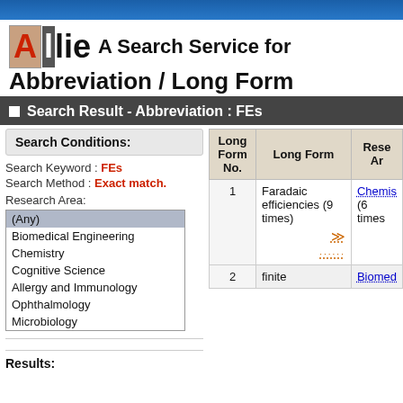Allie A Search Service for Abbreviation / Long Form
Search Result - Abbreviation : FEs
Search Conditions:
Search Keyword : FEs
Search Method : Exact match.
Research Area:
(Any)
Biomedical Engineering
Chemistry
Cognitive Science
Allergy and Immunology
Ophthalmology
Microbiology
Results:
| Long Form No. | Long Form | Research Area |
| --- | --- | --- |
| 1 | Faradaic efficiencies (9 times) | Chemistry (6 times) |
| 2 | finite | Biomedical Engineering |